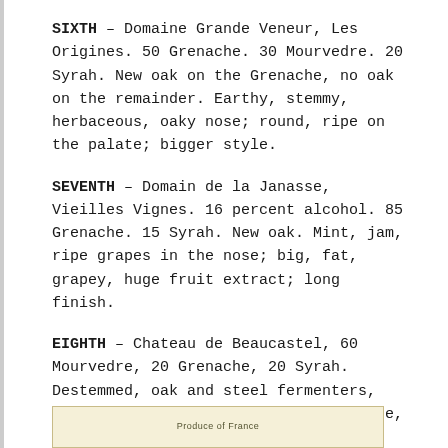SIXTH – Domaine Grande Veneur, Les Origines. 50 Grenache. 30 Mourvedre.  20 Syrah.  New oak on the Grenache, no oak on the remainder.  Earthy, stemmy, herbaceous, oaky nose; round, ripe on the palate; bigger style.
SEVENTH – Domain de la Janasse, Vieilles Vignes. 16 percent alcohol.  85 Grenache. 15 Syrah.  New oak.  Mint, jam, ripe grapes in the nose; big, fat, grapey, huge fruit extract; long finish.
EIGHTH – Chateau de Beaucastel, 60 Mourvedre, 20 Grenache, 20 Syrah. Destemmed, oak and steel fermenters, old oak casks. Herbaceous, earthy nose, a little closed at first; bigger, tannic, but balanced; opens with time.
[Figure (photo): Partial image of a wine label showing text 'Produce of France' on a light beige/cream colored background.]